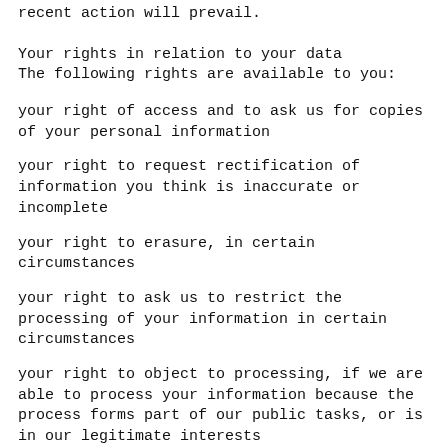recent action will prevail.
Your rights in relation to your data
The following rights are available to you:
your right of access and to ask us for copies of your personal information
your right to request rectification of information you think is inaccurate or incomplete
your right to erasure, in certain circumstances
your right to ask us to restrict the processing of your information in certain circumstances
your right to object to processing, if we are able to process your information because the process forms part of our public tasks, or is in our legitimate interests
your right to ask that we transfer the information you have given us from one organisation to another, or give it to you (applicable only if we are processing information based on your consent or under, or in talks about entering into a contract and the processing is